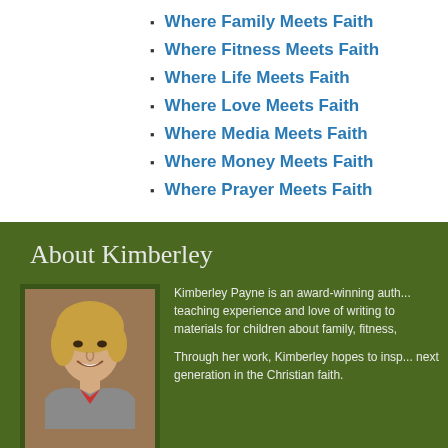Where Family Meets Faith
Where Fitness Meets Faith
Where Life Meets Faith
Where Love Meets Faith
Where Media Meets Faith
Where Money Meets Faith
Where Prayer Meets Faith
About Kimberley
[Figure (photo): Portrait photo of Kimberley Payne, a smiling blonde woman in a grey jacket with a red accent, seated against a brown background.]
Kimberley Payne is an award-winning auth... teaching experience and love of writing to materials for children about family, fitness,

Through her work, Kimberley hopes to insp... next generation in the Christian faith.